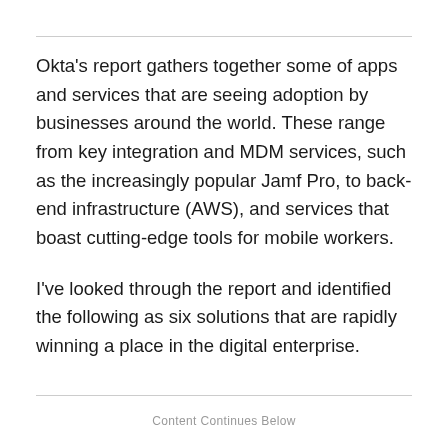Okta's report gathers together some of apps and services that are seeing adoption by businesses around the world. These range from key integration and MDM services, such as the increasingly popular Jamf Pro, to back-end infrastructure (AWS), and services that boast cutting-edge tools for mobile workers.
I've looked through the report and identified the following as six solutions that are rapidly winning a place in the digital enterprise.
Content Continues Below